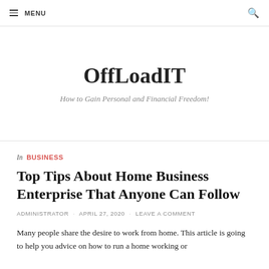≡ MENU
OffLoadIT
How to Gain Personal and Financial Freedom!
In BUSINESS
Top Tips About Home Business Enterprise That Anyone Can Follow
ADMINISTRATOR · APRIL 27, 2020 · LEAVE A COMMENT
Many people share the desire to work from home. This article is going to help you advice on how to run a home working or